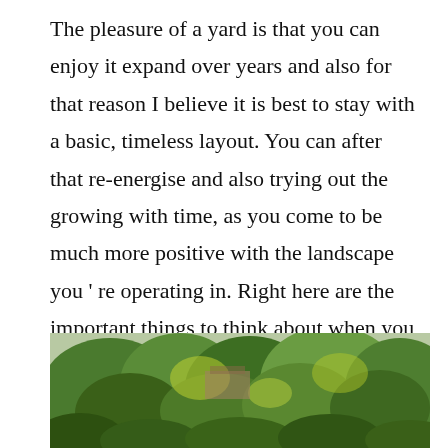The pleasure of a yard is that you can enjoy it expand over years and also for that reason I believe it is best to stay with a basic, timeless layout. You can after that re-energise and also trying out the growing with time, as you come to be much more positive with the landscape you ' re operating in. Right here are the important things to think about when you ' re beginning.
[Figure (photo): A lush garden scene with dense green trees and shrubs, with a glimpse of a structure in the background.]